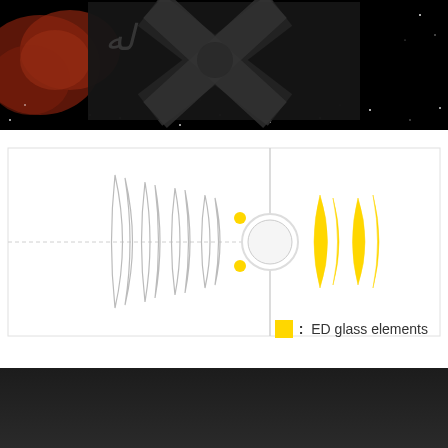[Figure (photo): Dark astronomy/nebula background image with red nebula on left and star field, with a telescope or optical instrument logo/text overlay in dark graphic style]
[Figure (engineering-diagram): Lens element diagram showing optical cross-section of a lens system. Left side shows multiple lens elements in outline/white. Center has a circular element. Right side shows two ED glass elements highlighted in yellow. A legend reads: yellow square : ED glass elements]
: ED glass elements